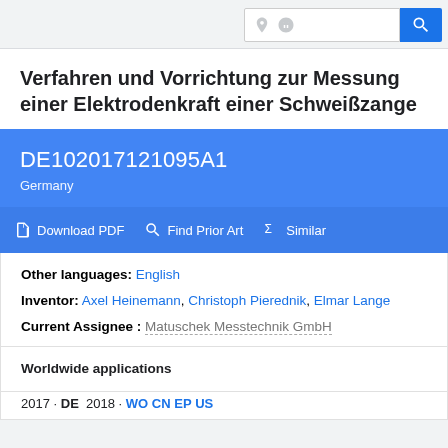Search bar with icons
Verfahren und Vorrichtung zur Messung einer Elektrodenkraft einer Schweißzange
DE102017121095A1
Germany
Download PDF | Find Prior Art | Similar
Other languages: English
Inventor: Axel Heinemann, Christoph Pierednik, Elmar Lange
Current Assignee: Matuschek Messtechnik GmbH
Worldwide applications
2017 · DE  2018 · WO CN EP US